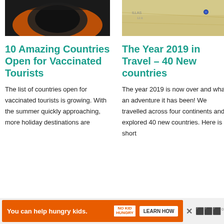[Figure (photo): Close-up photo of a dark object on an orange background]
[Figure (photo): Map photo with a blue pin marking a location]
10 Amazing Countries Open for Vaccinated Tourists
The Year 2019 in Travel – 40 New countries
The list of countries open for vaccinated tourists is growing. With the summer quickly approaching, more holiday destinations are
The year 2019 is now over and what an adventure it has been! We travelled across four continents and explored 40 new countries. Here is a short
You can help hungry kids. NO KID HUNGRY LEARN HOW